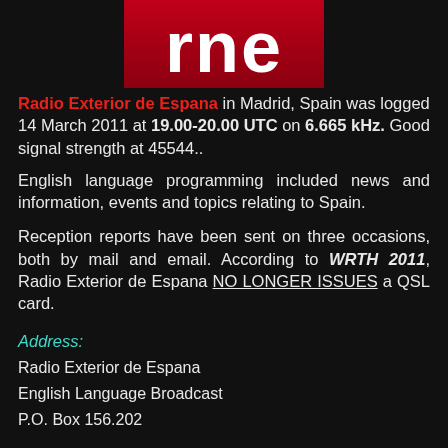[Figure (logo): RNE (Radio Nacional de España) logo — red square background with white 'rne' letters, partially cropped at top]
Radio Exterior de Espana in Madrid, Spain was logged 14 March 2011 at 19.00-20.00 UTC on 6.665 kHz. Good signal strength at 45544..
English language programming included news and information, events and topics relating to Spain.
Reception reports have been sent on three occasions, both by mail and email. According to WRTH 2011, Radio Exterior de Espana NO LONGER ISSUES a QSL card.
Address:
Radio Exterior de Espana
English Language Broadcast
P.O. Box 156.202